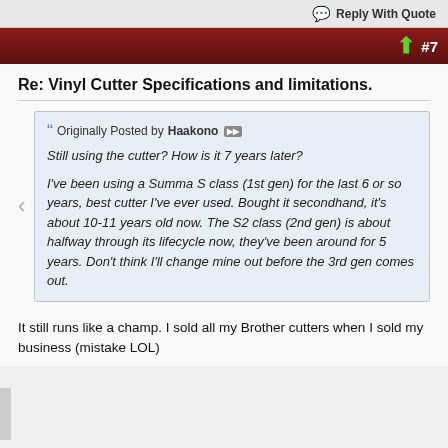Reply With Quote
#7
Re: Vinyl Cutter Specifications and limitations.
Originally Posted by Haakono
Still using the cutter? How is it 7 years later?

I've been using a Summa S class (1st gen) for the last 6 or so years, best cutter I've ever used. Bought it secondhand, it's about 10-11 years old now. The S2 class (2nd gen) is about halfway through its lifecycle now, they've been around for 5 years. Don't think I'll change mine out before the 3rd gen comes out.
It still runs like a champ. I sold all my Brother cutters when I sold my business (mistake LOL)